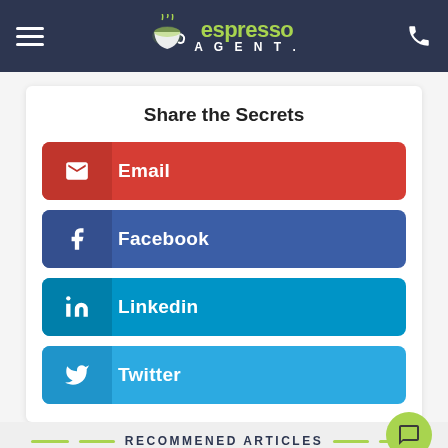[Figure (logo): Espresso Agent logo with hamburger menu and phone icon on dark navy header]
Share the Secrets
Email
Facebook
Linkedin
Twitter
RECOMMENED ARTICLES